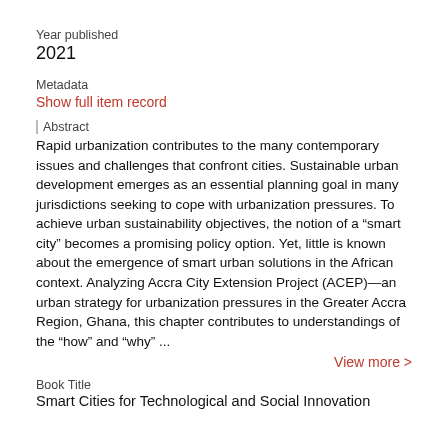Year published
2021
Metadata
Show full item record
Abstract
Rapid urbanization contributes to the many contemporary issues and challenges that confront cities. Sustainable urban development emerges as an essential planning goal in many jurisdictions seeking to cope with urbanization pressures. To achieve urban sustainability objectives, the notion of a “smart city” becomes a promising policy option. Yet, little is known about the emergence of smart urban solutions in the African context. Analyzing Accra City Extension Project (ACEP)—an urban strategy for urbanization pressures in the Greater Accra Region, Ghana, this chapter contributes to understandings of the “how” and “why” ...
View more >
Book Title
Smart Cities for Technological and Social Innovation